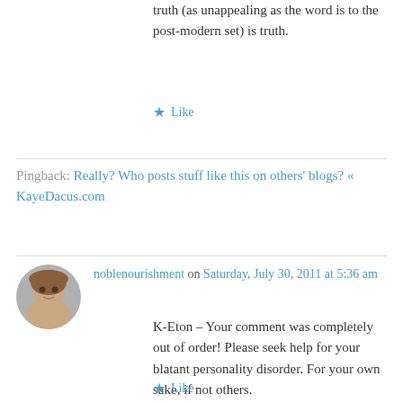truth (as unappealing as the word is to the post-modern set) is truth.
★ Like
Pingback: Really? Who posts stuff like this on others' blogs? « KayeDacus.com
[Figure (photo): Avatar photo of commenter noblenourishment, a woman with reddish-blonde hair]
noblenourishment on Saturday, July 30, 2011 at 5:36 am
K-Eton – Your comment was completely out of order! Please seek help for your blatant personality disorder. For your own sake, if not others.
★ Like